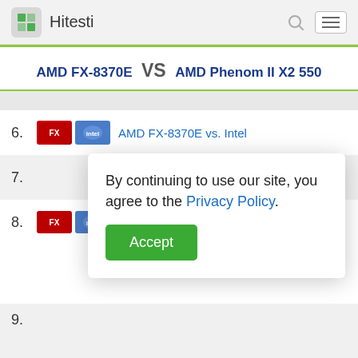Hitesti
AMD FX-8370E VS AMD Phenom II X2 550
6. AMD FX-8370E vs. Intel
By continuing to use our site, you agree to the Privacy Policy.
Accept
7.
8. AMD FX-8370E ... el
9.